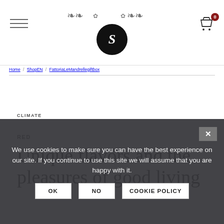S [logo] - navigation header with cart (0 items)
Home / ShopEN / FattoriaLeMandrellegiftbox
RED
Unique flavors and the pleasures of good living
CLIMATE
We use cookies to make sure you can have the best experience on our site. If you continue to use this site we will assume that you are happy with it.
OK   NO   COOKIE POLICY